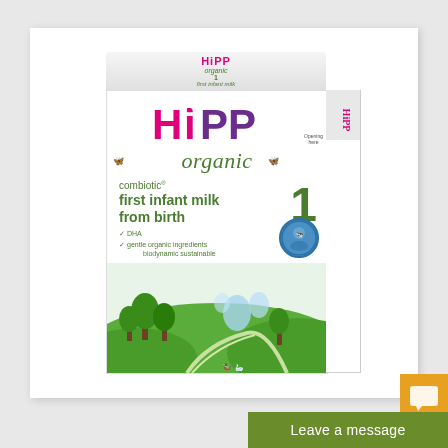[Figure (photo): HiPP Organic Combiotic First Infant Milk Stage 1 product box. White box with HiPP logo in pink/purple, 'organic' in green italic text, 'combiotic first infant milk from birth' text, large green number 1, scenic pastoral illustration at bottom with green hills and trees, blue circular badge with cow imagery, small butterfly icons on sides.]
Leave a message